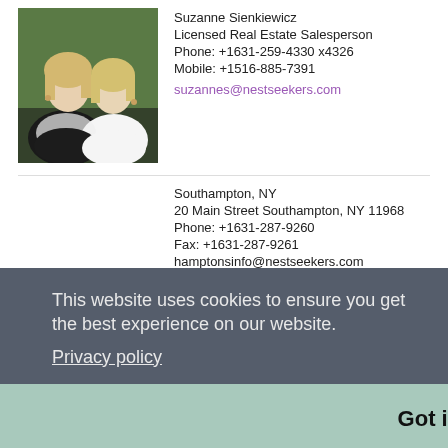[Figure (photo): Photo of two blonde women in white clothing against a green background]
Suzanne Sienkiewicz
Licensed Real Estate Salesperson
Phone: +1631-259-4330 x4326
Mobile: +1516-885-7391
suzannes@nestseekers.com
Southampton, NY
20 Main Street Southampton, NY 11968
Phone: +1631-287-9260
Fax: +1631-287-9261
hamptonsinfo@nestseekers.com
This website uses cookies to ensure you get the best experience on our website.
Privacy policy
Got it!
Last name